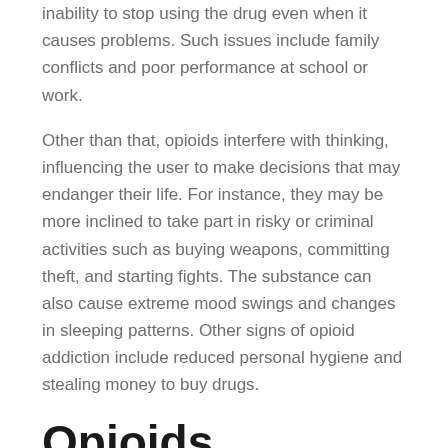inability to stop using the drug even when it causes problems. Such issues include family conflicts and poor performance at school or work.
Other than that, opioids interfere with thinking, influencing the user to make decisions that may endanger their life. For instance, they may be more inclined to take part in risky or criminal activities such as buying weapons, committing theft, and starting fights. The substance can also cause extreme mood swings and changes in sleeping patterns. Other signs of opioid addiction include reduced personal hygiene and stealing money to buy drugs.
Opioids Withdrawal Symptoms
Drug abuse causes dependence, which leads to